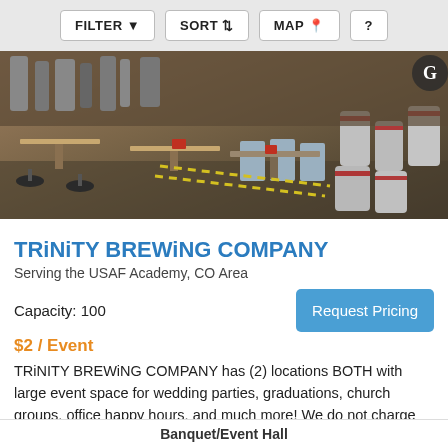FILTER  SORT  MAP  ?
[Figure (photo): Interior of Trinity Brewing Company showing industrial brewing equipment, metal kegs, bar tables and stools in a warehouse-style taproom setting.]
TRiNiTY BREWiNG COMPANY
Serving the USAF Academy, CO Area
Capacity: 100
Request Pricing
$2 / Event
TRiNITY BREWiNG COMPANY has (2) locations BOTH with large event space for wedding parties, graduations, church groups, office happy hours, and much more! We do not charge
Banquet/Event Hall